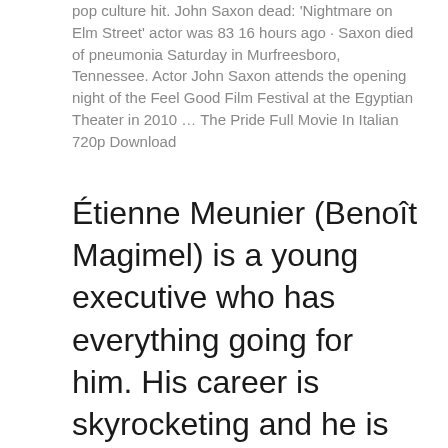pop culture hit. John Saxon dead: ‘Nightmare on Elm Street’ actor was 83 16 hours ago · Saxon died of pneumonia Saturday in Murfreesboro, Tennessee. Actor John Saxon attends the opening night of the Feel Good Film Festival at the Egyptian Theater in 2010 … The Pride Full Movie In Italian 720p Download
Étienne Meunier (Benoît Magimel) is a young executive who has everything going for him. His career is skyrocketing and he is about to become #1 at work, he is married to a picture-perfect wife, has a dream home and money. To top it off, he’s charming, healthy and everyone likes